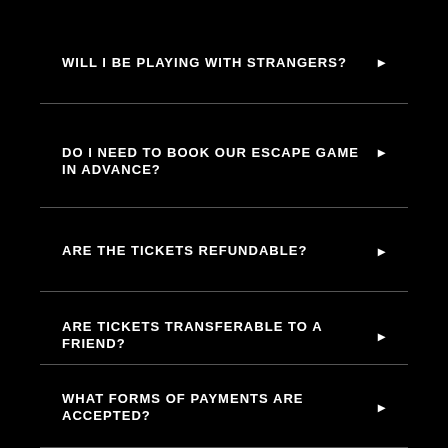WILL I BE PLAYING WITH STRANGERS?
DO I NEED TO BOOK OUR ESCAPE GAME IN ADVANCE?
ARE THE TICKETS REFUNDABLE?
ARE TICKETS TRANSFERABLE TO A FRIEND?
WHAT FORMS OF PAYMENTS ARE ACCEPTED?